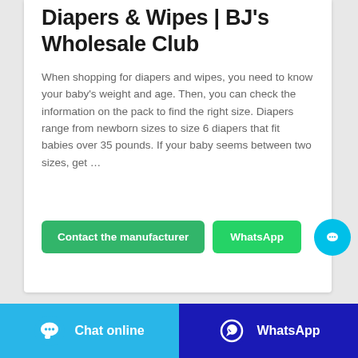Diapers & Wipes | BJ's Wholesale Club
When shopping for diapers and wipes, you need to know your baby's weight and age. Then, you can check the information on the pack to find the right size. Diapers range from newborn sizes to size 6 diapers that fit babies over 35 pounds. If your baby seems between two sizes, get …
Contact the manufacturer
WhatsApp
Chat online | WhatsApp